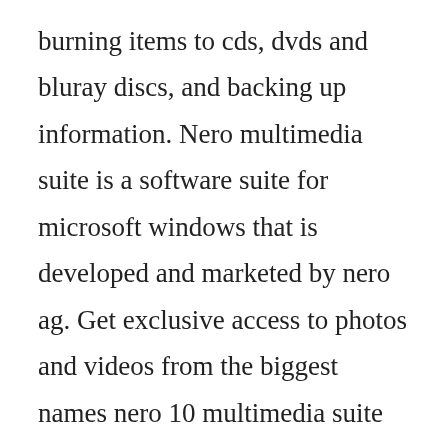burning items to cds, dvds and bluray discs, and backing up information. Nero multimedia suite is a software suite for microsoft windows that is developed and marketed by nero ag. Get exclusive access to photos and videos from the biggest names nero 10 multimedia suite full version in music, with creative challenges for your chance to win the nero 10 multimedia suite full version ultimate vip experience. The nero 10 multimedia suite full version world of live music. Since its version 10, nero provides two variants of the suite, the basic and the platinum. Depend...